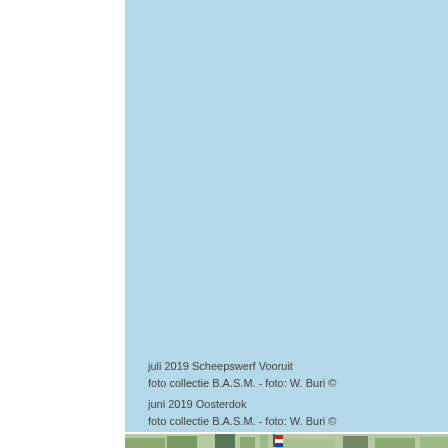[Figure (photo): Large light blue background photo area representing Scheepswerf Vooruit, juli 2019 (top portion)]
juli 2019 Scheepswerf Vooruit
foto collectie B.A.S.M. - foto: W. Buri ©
[Figure (photo): Light blue background photo area representing Oosterdok, juni 2019 (lower portion)]
juni 2019 Oosterdok
foto collectie B.A.S.M. - foto: W. Buri ©
[Figure (photo): Bottom strip photo showing city skyline with ships and Dutch flag]
Voor vergro
Dit vaartuig het zogenoe Varend Erfg Nederland
Ze is onder inschrijfnum
2152
terug te vind
KLIK HIER